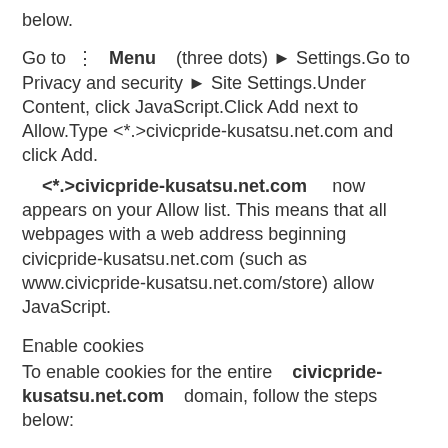below.
Go to ⋮ Menu (three dots) ▶ Settings.Go to Privacy and security ▶ Site Settings.Under Content, click JavaScript.Click Add next to Allow.Type <*.>civicpride-kusatsu.net.com and click Add.
<*.>civicpride-kusatsu.net.com now appears on your Allow list. This means that all webpages with a web address beginning civicpride-kusatsu.net.com (such as www.civicpride-kusatsu.net.com/store) allow JavaScript.
Enable cookies
To enable cookies for the entire civicpride-kusatsu.net.com domain, follow the steps below:
Go to ⋮ Menu (three dots) ▶ Settings.Go to Privacy and security ▶ Site Settings.Under Content, click Cookies and site data.Click Add next to Sites that can always use cookies.Type civicpride-